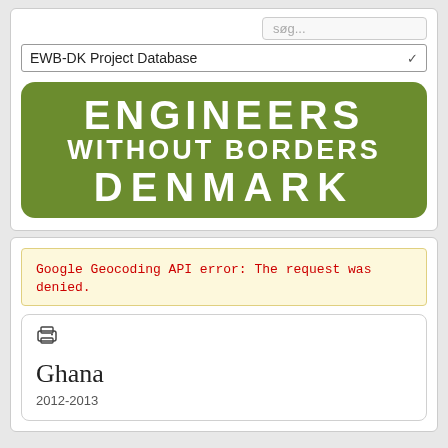søg...
EWB-DK Project Database
[Figure (logo): Engineers Without Borders Denmark logo — green rounded rectangle with white bold text reading ENGINEERS / WITHOUT BORDERS / DENMARK]
Google Geocoding API error: The request was denied.
[Figure (other): Print icon (printer symbol)]
Ghana
2012-2013